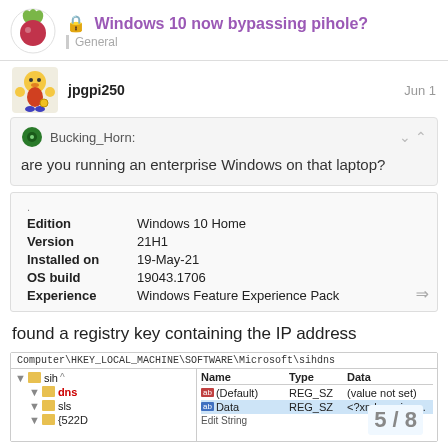Windows 10 now bypassing pihole? — General
jpgpi250   Jun 1
Bucking_Horn: are you running an enterprise Windows on that laptop?
[Figure (screenshot): Windows system info screenshot showing Edition: Windows 10 Home, Version: 21H1, Installed on: 19-May-21, OS build: 19043.1706, Experience: Windows Feature Experience Pack]
found a registry key containing the IP address
[Figure (screenshot): Windows Registry Editor screenshot showing Computer\HKEY_LOCAL_MACHINE\SOFTWARE\Microsoft\sihdns path with sih folder expanded showing dns and sls subfolders, with registry values Name, Type, Data columns visible including (Default) REG_SZ (value not set) and Data REG_SZ entries]
5 / 8